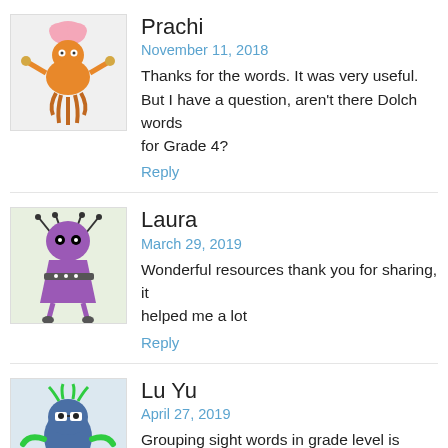[Figure (illustration): Cartoon avatar of a whimsical orange creature with a brain on top, for user Prachi]
Prachi
November 11, 2018
Thanks for the words. It was very useful. But I have a question, aren't there Dolch words for Grade 4?
Reply
[Figure (illustration): Cartoon avatar of a purple alien figure for user Laura]
Laura
March 29, 2019
Wonderful resources thank you for sharing, it helped me a lot
Reply
[Figure (illustration): Cartoon avatar of a blue bug-like creature with green arms for user Lu Yu]
Lu Yu
April 27, 2019
Grouping sight words in grade level is worthwhile to use in teaching. Thanks for your